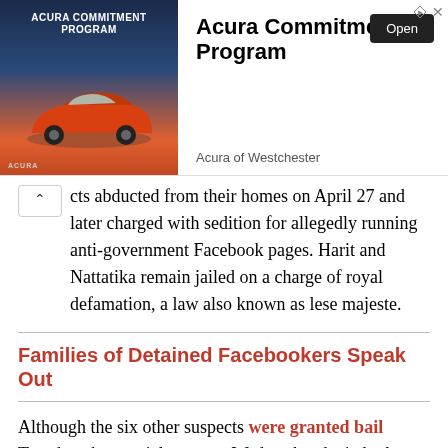[Figure (other): Advertisement banner for Acura Commitment Program showing a red SUV with an Open button and Acura of Westchester branding]
cts abducted from their homes on April 27 and later charged with sedition for allegedly running anti-government Facebook pages. Harit and Nattatika remain jailed on a charge of royal defamation, a law also known as lese majeste.
Families of Detained Facebookers Speak Out
Although the six other suspects were granted bail Tuesday, the martial court on Wednesday denied release to Harit and Nattatika, lawyer Winyat Chartmontree said, because it deemed them a flight risk.
“They are still in good spirits; they are willing to fight,” Winyat